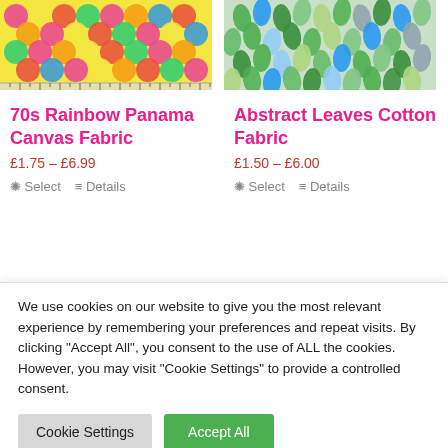[Figure (photo): 70s Rainbow Panama Canvas Fabric product image - colorful geometric pattern with pink, red, green, yellow scallop/floral shapes]
[Figure (photo): Abstract Leaves Cotton Fabric product image - green, blue, and gray stylized leaf pattern]
70s Rainbow Panama Canvas Fabric
£1.75 – £6.99
Select   Details
Abstract Leaves Cotton Fabric
£1.50 – £6.00
Select   Details
We use cookies on our website to give you the most relevant experience by remembering your preferences and repeat visits. By clicking "Accept All", you consent to the use of ALL the cookies. However, you may visit "Cookie Settings" to provide a controlled consent.
Cookie Settings   Accept All